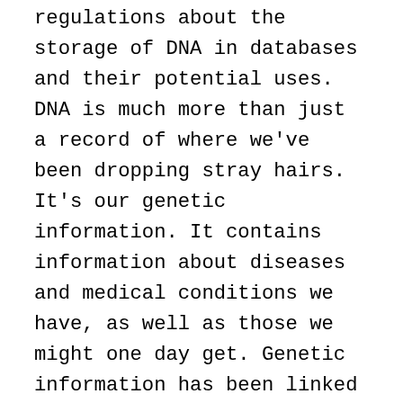regulations about the storage of DNA in databases and their potential uses. DNA is much more than just a record of where we've been dropping stray hairs. It's our genetic information. It contains information about diseases and medical conditions we have, as well as those we might one day get. Genetic information has been linked not just to physical traits like hair and eye color, but aggression, susceptibility to addiction, and sexual orientation. And while the portions of DNA that are analyzed for inclusion in the database probably don't code for any traits (though that's still being debated by scientists), most jurisdictions retain the original biological samples and so have access to the full genetic information of people in the database.